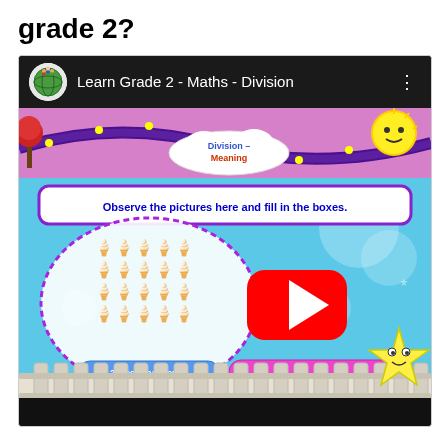grade 2?
[Figure (screenshot): YouTube video thumbnail showing an educational math video titled 'Learn Grade 2 - Maths - Division'. The thumbnail shows a colorful animated scene with ice cream cups in a purple dotted oval, text 'Observe the pictures here and fill in the boxes.', a YouTube play button in the center, and a cartoon star character on the right. The video is about division for grade 2 math.]